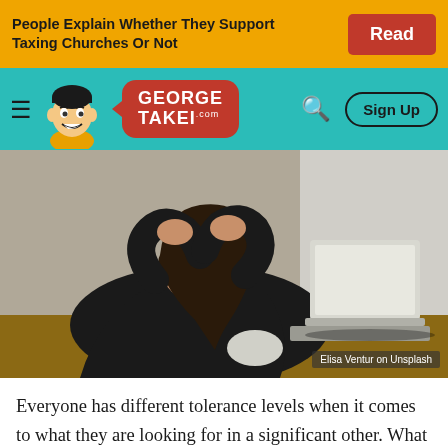People Explain Whether They Support Taxing Churches Or Not
[Figure (logo): George Takei .com website logo with cartoon mascot and red speech bubble logo, on teal navigation bar with hamburger menu, search icon, and Sign Up button]
[Figure (photo): Person in black clothing with head in hands sitting in front of a laptop, appearing stressed. Photo credit: Elisa Ventur on Unsplash]
Everyone has different tolerance levels when it comes to what they are looking for in a significant other. What have you ever dealbreakers in...